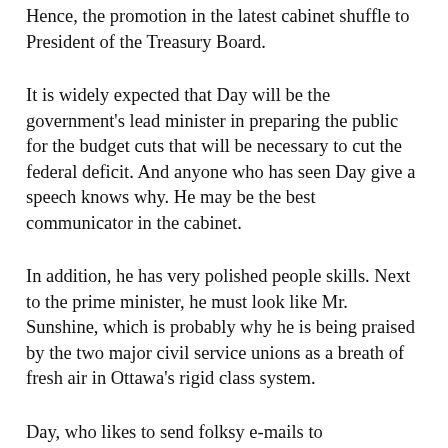Hence, the promotion in the latest cabinet shuffle to President of the Treasury Board.
It is widely expected that Day will be the government's lead minister in preparing the public for the budget cuts that will be necessary to cut the federal deficit. And anyone who has seen Day give a speech knows why. He may be the best communicator in the cabinet.
In addition, he has very polished people skills. Next to the prime minister, he must look like Mr. Sunshine, which is probably why he is being praised by the two major civil service unions as a breath of fresh air in Ottawa's rigid class system.
Day, who likes to send folksy e-mails to departmental staff, did something quite unheard of in Ottawa after taking over as Treasury Board president. He called the heads of both unions to introduce himself and suggest getting together.
It will be interesting to see if the system will close in on him since he is very obviously an outsider. Another question is